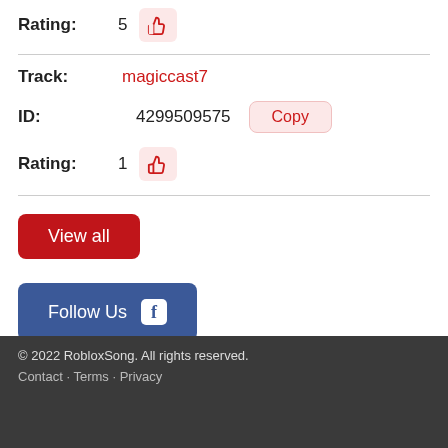Rating: 5
Track: magiccast7
ID: 4299509575
Rating: 1
View all
Follow Us
© 2022 RobloxSong. All rights reserved.
Contact · Terms · Privacy